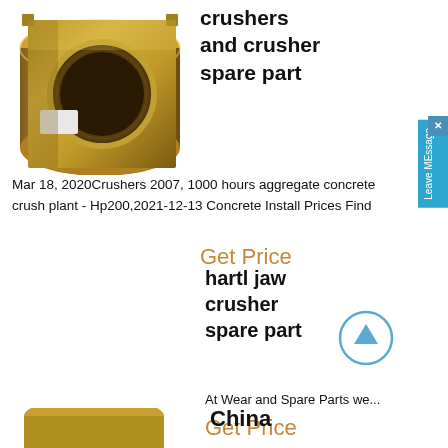[Figure (photo): Gold/brass cylindrical crusher bushing part, top product image]
crushers and crusher spare part
Mar 18, 2020Crushers 2007, 1000 hours aggregate concrete crush plant - Hp200,2021-12-13 Concrete Install Prices Find
Get Price
[Figure (photo): Gold/brass square flange bushing with circular bore, crusher spare part]
hartl jaw crusher spare part
At Wear and Spare Parts we...
Get Price
China